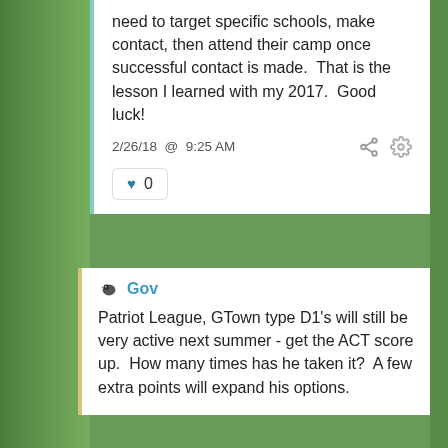need to target specific schools, make contact, then attend their camp once successful contact is made.  That is the lesson I learned with my 2017.  Good luck!
2/26/18 @ 9:25 AM
0
Gov
Patriot League, GTown type D1's will still be very active next summer - get the ACT score up.  How many times has he taken it?  A few extra points will expand his options.